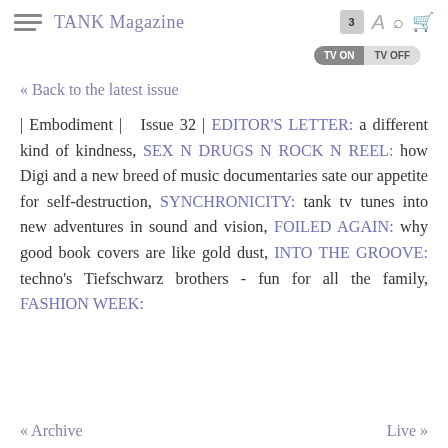TANK Magazine
« Back to the latest issue
| Embodiment | Issue 32 | EDITOR'S LETTER: a different kind of kindness, SEX N DRUGS N ROCK N REEL: how Digi and a new breed of music documentaries sate our appetite for self-destruction, SYNCHRONICITY: tank tv tunes into new adventures in sound and vision, FOILED AGAIN: why good book covers are like gold dust, INTO THE GROOVE: techno's Tiefschwarz brothers - fun for all the family, FASHION WEEK:
« Archive    Live »